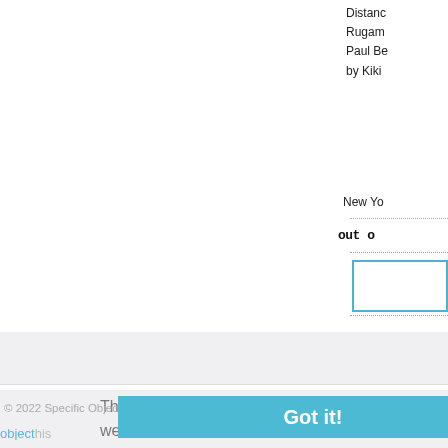Distanc
Rugam
Paul Be
by Kiki
New Yo
out o
[Figure (other): Blue bordered rectangle/box]
objecthis
This website uses cookies to ensure you get the best experience on our website.
Learn more
Got it!
© 2022 Specific Object | David Platzker